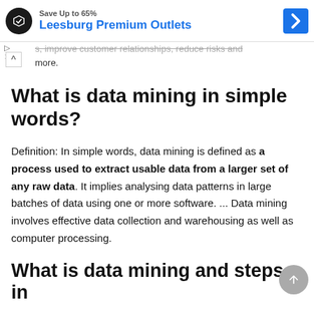[Figure (other): Ad banner showing Leesburg Premium Outlets with logo, brand name in blue, and blue direction arrow icon]
s, improve customer relationships, reduce risks and more.
What is data mining in simple words?
Definition: In simple words, data mining is defined as a process used to extract usable data from a larger set of any raw data. It implies analysing data patterns in large batches of data using one or more software. ... Data mining involves effective data collection and warehousing as well as computer processing.
What is data mining and steps in